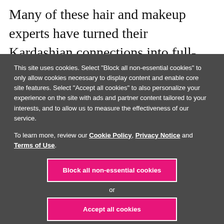Many of these hair and makeup experts have turned their Kardashian connections into full-blown businesses. Hair
This site uses cookies. Select "Block all non-essential cookies" to only allow cookies necessary to display content and enable core site features. Select "Accept all cookies" to also personalize your experience on the site with ads and partner content tailored to your interests, and to allow us to measure the effectiveness of our service.
To learn more, review our Cookie Policy, Privacy Notice and Terms of Use.
Block all non-essential cookies
or
Accept all cookies